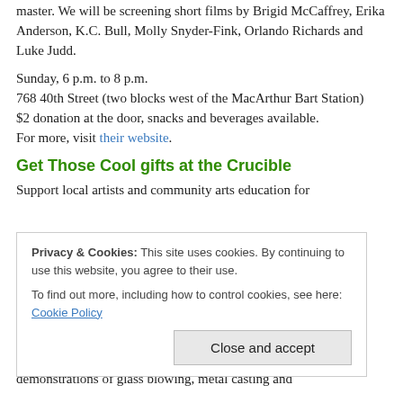master. We will be screening short films by Brigid McCaffrey, Erika Anderson, K.C. Bull, Molly Snyder-Fink, Orlando Richards and Luke Judd.
Sunday, 6 p.m. to 8 p.m.
768 40th Street (two blocks west of the MacArthur Bart Station)
$2 donation at the door, snacks and beverages available.
For more, visit their website.
Get Those Cool gifts at the Crucible
Support local artists and community arts education for
Privacy & Cookies: This site uses cookies. By continuing to use this website, you agree to their use.
To find out more, including how to control cookies, see here: Cookie Policy
demonstrations of glass blowing, metal casting and